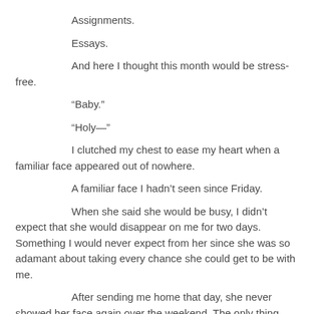Assignments.
Essays.
And here I thought this month would be stress-free.
“Baby.”
“Holy—”
I clutched my chest to ease my heart when a familiar face appeared out of nowhere.
A familiar face I hadn’t seen since Friday.
When she said she would be busy, I didn’t expect that she would disappear on me for two days. Something I would never expect from her since she was so adamant about taking every chance she could get to be with me.
After sending me home that day, she never showed her face again over the weekend. The only thing that kept me from thinking she must’ve died was her occasional messages.
Seeing her again today stirred something unfamiliar inside me.
“How many times do I have to tell you don’t call me baby when we are at school?” I looked around to see if someone’s watching us. “Also, didn’t I tell